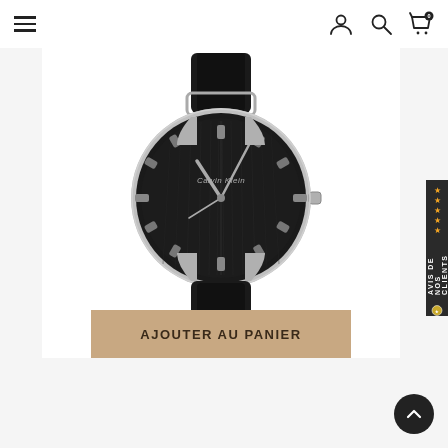Navigation bar with hamburger menu, user icon, search icon, cart icon (0 items)
[Figure (photo): CK Calvin Klein Even watch with black dial, silver case, black leather strap. Button: AJOUTER AU PANIER (Add to Cart) overlaid at the bottom.]
CK Calvin Klein Even
219,00 €